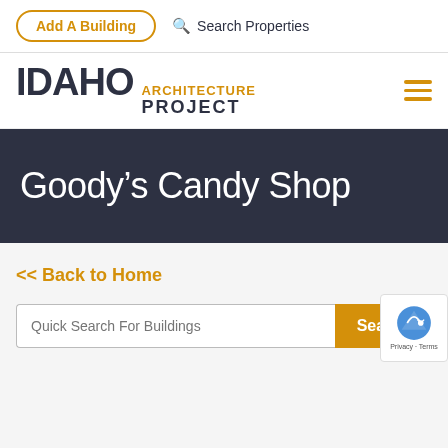Add A Building | Search Properties
[Figure (logo): Idaho Architecture Project logo with hamburger menu icon]
Goody's Candy Shop
<< Back to Home
Quick Search For Buildings | Search